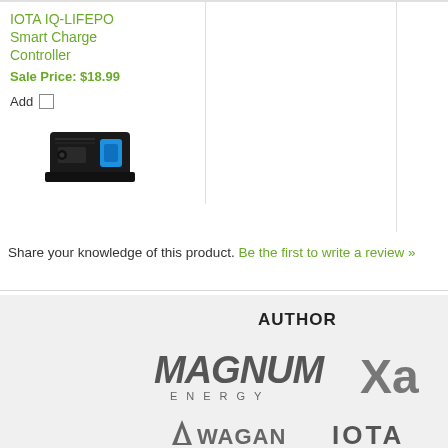IOTA IQ-LIFEPO Smart Charge Controller
Sale Price: $18.99
Add
[Figure (photo): IOTA IQ-LIFEPO Smart Charge Controller device, black rectangular unit with blue port]
Share your knowledge of this product. Be the first to write a review »
AUTHORIZED
[Figure (logo): Magnum Energy logo]
[Figure (logo): Xantrex logo (partial, shows Xa)]
[Figure (logo): Wagan logo (partial)]
[Figure (logo): IOTA logo]